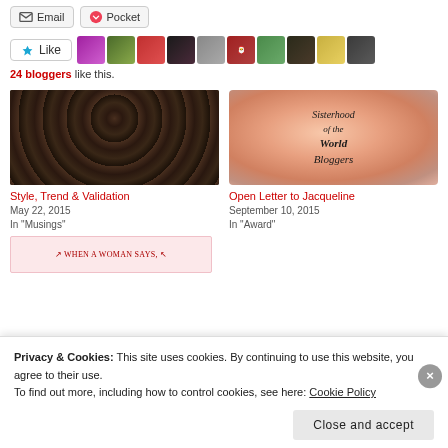[Figure (screenshot): Email and Pocket sharing buttons at top of page]
[Figure (screenshot): Like button with star icon and row of blogger avatar thumbnails]
24 bloggers like this.
[Figure (photo): Photo of woman with braided hair updo, dark image]
Style, Trend & Validation
May 22, 2015
In "Musings"
[Figure (illustration): Sisterhood of the World Bloggers badge - orange/peach circular badge with script text]
Open Letter to Jacqueline
September 10, 2015
In "Award"
[Figure (screenshot): Partial image showing pink background with text 'WHEN A WOMAN SAYS,']
Privacy & Cookies: This site uses cookies. By continuing to use this website, you agree to their use.
To find out more, including how to control cookies, see here: Cookie Policy
Close and accept